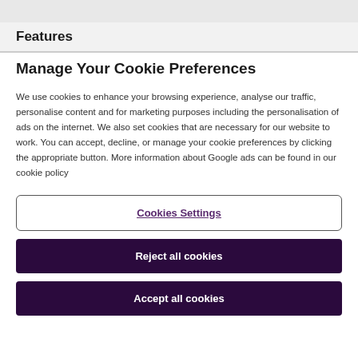Features
Manage Your Cookie Preferences
We use cookies to enhance your browsing experience, analyse our traffic, personalise content and for marketing purposes including the personalisation of ads on the internet. We also set cookies that are necessary for our website to work. You can accept, decline, or manage your cookie preferences by clicking the appropriate button. More information about Google ads can be found in our cookie policy
Cookies Settings
Reject all cookies
Accept all cookies